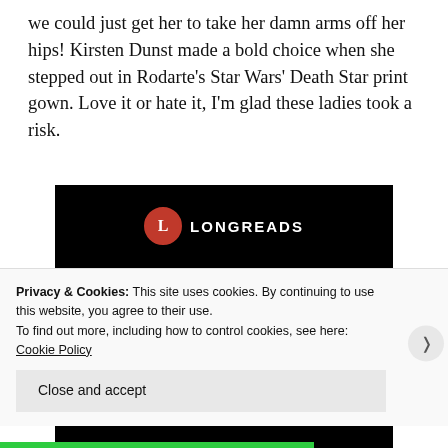we could just get her to take her damn arms off her hips! Kirsten Dunst made a bold choice when she stepped out in Rodarte's Star Wars' Death Star print gown. Love it or hate it, I'm glad these ladies took a risk.
[Figure (screenshot): Longreads advertisement banner on black background with logo, headline 'Read anything great lately?' and red 'Start reading' button]
Privacy & Cookies: This site uses cookies. By continuing to use this website, you agree to their use.
To find out more, including how to control cookies, see here: Cookie Policy
Close and accept